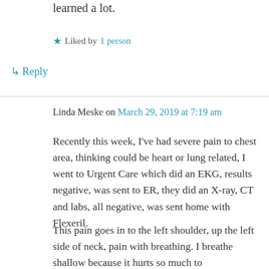learned a lot.
★ Liked by 1 person
↳ Reply
Linda Meske on March 29, 2019 at 7:19 am
Recently this week, I've had severe pain to chest area, thinking could be heart or lung related, I went to Urgent Care which did an EKG, results negative, was sent to ER, they did an X-ray, CT and labs, all negative, was sent home with Flexeril.
This pain goes in to the left shoulder, up the left side of neck, pain with breathing. I breathe shallow because it hurts so much to